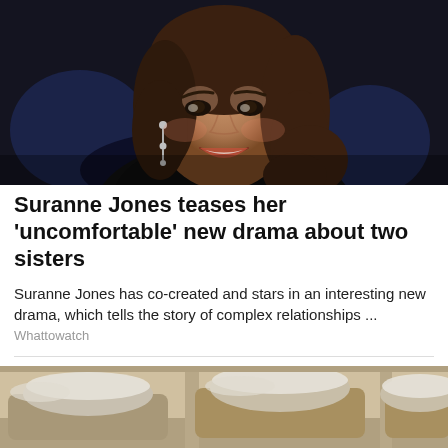[Figure (photo): Smiling brunette woman with dangling earrings against a dark background, Suranne Jones]
Suranne Jones teases her 'uncomfortable' new drama about two sisters
Suranne Jones has co-created and stars in an interesting new drama, which tells the story of complex relationships ...
Whattowatch
[Figure (photo): Snow-covered cars parked in an indoor or covered parking area, muted beige tones]